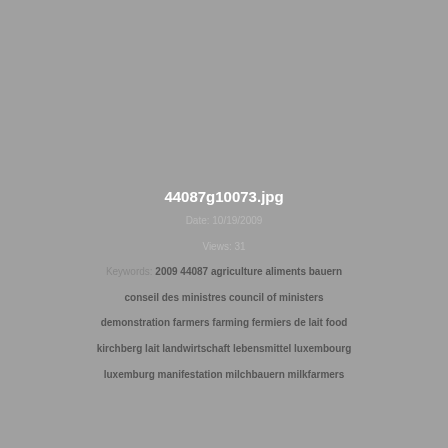44087g10073.jpg
Date: 10/19/2009
Views: 31
Keywords: 2009  44087  agriculture  aliments  bauern  conseil des ministres  council of ministers  demonstration  farmers  farming  fermiers de lait  food  kirchberg  lait  landwirtschaft  lebensmittel  luxembourg  luxemburg  manifestation  milchbauern  milkfarmers